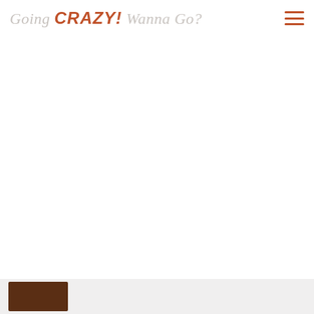Going CRAZY! Wanna Go?
[Figure (other): Hamburger menu icon (three horizontal lines) in burnt orange/red color, positioned top right]